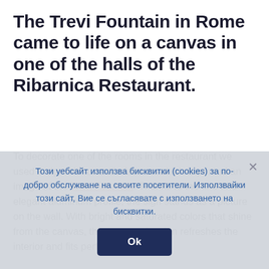The Trevi Fountain in Rome came to life on a canvas in one of the halls of the Ribarnica Restaurant.
To decorate one of the rooms in the restaurant we used a sign with a textile face on which is printed an image of the Trevi Fountain. Thanks to the fine and elegant aluminum profile, the sign stands as a picture on the wall. With bright and saturated colors that shine from the canvas, the spectacular sign refreshes the interior and fits perfectly into
Този уебсайт използва бисквитки (cookies) за по-добро обслужване на своите посетители. Използвайки този сайт, Вие се съгласявате с използването на бисквитки.